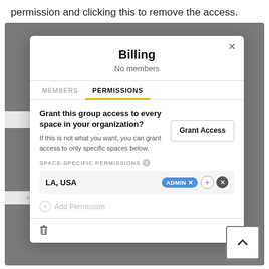permission and clicking this to remove the access.
[Figure (screenshot): A modal dialog titled 'Billing' with 'No members' subtitle. It has two tabs: MEMBERS and PERMISSIONS (active, underlined in yellow). The Permissions tab shows a 'Grant Access' button with text 'Grant this group access to every space in your organization?' and subtext about granting access to specific spaces. Below is a 'SPACE-SPECIFIC PERMISSIONS' section with a row showing 'LA, USA' with an 'ADMIN x' blue badge, a plus circle icon, and a remove icon. An 'Add Permission' link is below. The modal footer has a trash icon. A scroll-to-top button is visible at bottom right.]